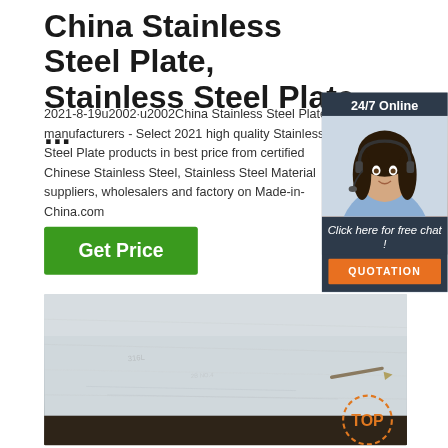China Stainless Steel Plate, Stainless Steel Plate ...
2021-8-19u2002·u2002China Stainless Steel Plate manufacturers - Select 2021 high quality Stainless Steel Plate products in best price from certified Chinese Stainless Steel, Stainless Steel Material suppliers, wholesalers and factory on Made-in-China.com
[Figure (other): Green 'Get Price' button]
[Figure (other): Chat widget overlay with '24/7 Online' header, photo of woman with headset, 'Click here for free chat!' text, and orange QUOTATION button]
[Figure (photo): Photo of stainless steel plate surface, showing metallic texture and edge with wood support, with TOP badge in bottom right corner]